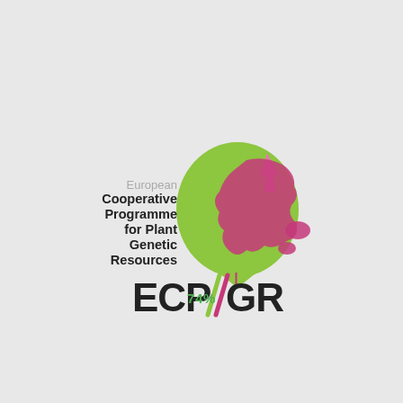[Figure (logo): ECP/GR logo — European Cooperative Programme for Plant Genetic Resources. Features a green leaf/globe shape with pink/magenta map of Europe silhouette overlaid, and a pink arrow pointer at top. Text reads 'European Cooperative Programme for Plant Genetic Resources' to the left and 'ECP/GR' below with two diagonal green/pink slashes between ECP and GR.]
74%